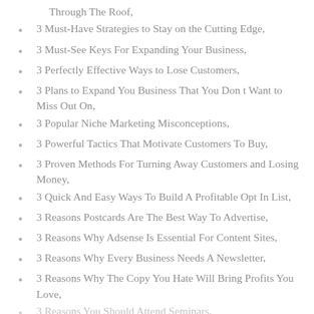Through The Roof,
3 Must-Have Strategies to Stay on the Cutting Edge,
3 Must-See Keys For Expanding Your Business,
3 Perfectly Effective Ways to Lose Customers,
3 Plans to Expand You Business That You Don t Want to Miss Out On,
3 Popular Niche Marketing Misconceptions,
3 Powerful Tactics That Motivate Customers To Buy,
3 Proven Methods For Turning Away Customers and Losing Money,
3 Quick And Easy Ways To Build A Profitable Opt In List,
3 Reasons Postcards Are The Best Way To Advertise,
3 Reasons Why Adsense Is Essential For Content Sites,
3 Reasons Why Every Business Needs A Newsletter,
3 Reasons Why The Copy You Hate Will Bring Profits You Love,
3 Reasons You Should Attend Seminars,